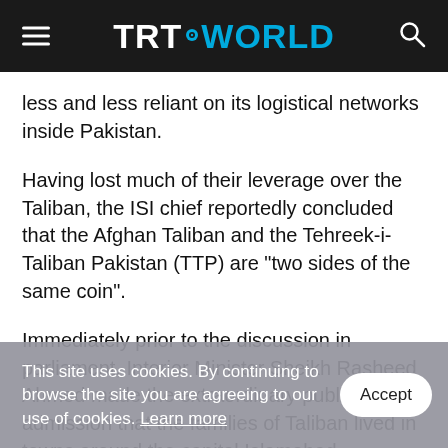TRT WORLD
less and less reliant on its logistical networks inside Pakistan.
Having lost much of their leverage over the Taliban, the ISI chief reportedly concluded that the Afghan Taliban and the Tehreek-i-Taliban Pakistan (TTP) are "two sides of the same coin".
Immediately prior to the discussion in parliament, Interior Minister Sheikh Rasheed Ahmed made the extraordinary public admission that the families of Taliban lived in towns around the capital Islamabad
This site uses cookies. By continuing to browse the site you are agreeing to our use of cookies. Learn more  Accept